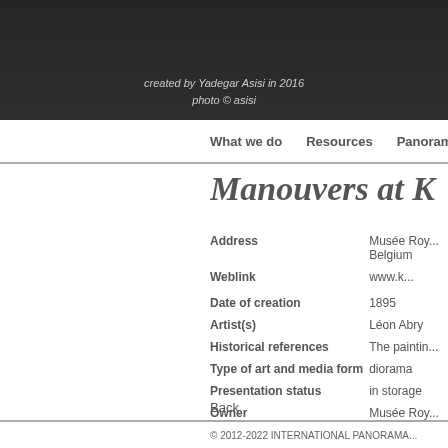[Figure (photo): Dark hero image with a figure in the background, overlaid with italic text credits]
created by Yadegar Asisi in 2016
photo © asisi
What we do   Resources   Panoramas
Manouvers at K
| Field | Value |
| --- | --- |
| Address | Musée Roy...
Belgium |
| Weblink | www.k... |
| Date of creation | 1895 |
| Artist(s) | Léon Abry |
| Historical references | The paintin... |
| Type of art and media form | diorama |
| Presentation status | in storage |
| Owner | Musée Roy... |
Back
© 2012-2022 INTERNATIONAL PANORAMA...